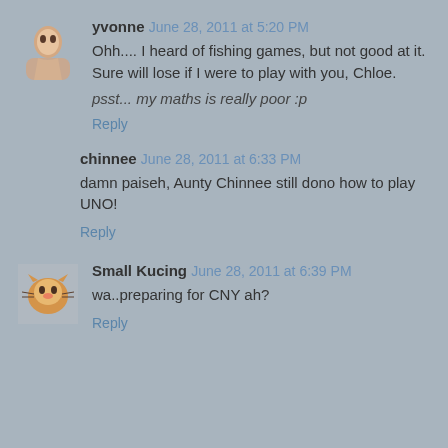[Figure (photo): Small avatar photo of yvonne, young Asian woman]
yvonne June 28, 2011 at 5:20 PM
Ohh.... I heard of fishing games, but not good at it. Sure will lose if I were to play with you, Chloe.
psst... my maths is really poor :p
Reply
chinnee June 28, 2011 at 6:33 PM
damn paiseh, Aunty Chinnee still dono how to play UNO!
Reply
[Figure (photo): Small avatar photo of Small Kucing, a cat]
Small Kucing June 28, 2011 at 6:39 PM
wa..preparing for CNY ah?
Reply